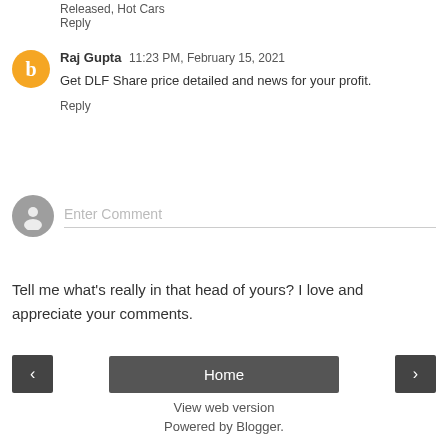Released, Hot Cars
Reply
Raj Gupta  11:23 PM, February 15, 2021
Get DLF Share price detailed and news for your profit.
Reply
Enter Comment
Tell me what's really in that head of yours? I love and appreciate your comments.
Home
View web version
Powered by Blogger.